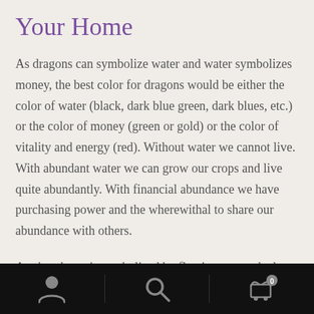Your Home
As dragons can symbolize water and water symbolizes money, the best color for dragons would be either the color of water (black, dark blue green, dark blues, etc.) or the color of money (green or gold) or the color of vitality and energy (red). Without water we cannot live. With abundant water we can grow our crops and live quite abundantly. With financial abundance we have purchasing power and the wherewithal to share our abundance with others.
As abundance is symbolized by flowing water, the best material to make dragons from is metal as metal turns to liquid when it melts. Feng Shui lore says the Metal element
Navigation bar with user, search, and cart icons